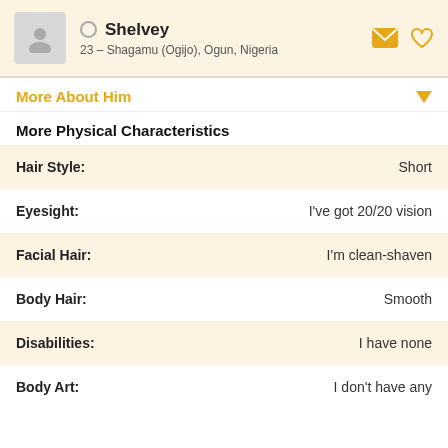Shelvey
23 – Shagamu (Ogijo), Ogun, Nigeria
More About Him
More Physical Characteristics
| Attribute | Value |
| --- | --- |
| Hair Style: | Short |
| Eyesight: | I've got 20/20 vision |
| Facial Hair: | I'm clean-shaven |
| Body Hair: | Smooth |
| Disabilities: | I have none |
| Body Art: | I don't have any |